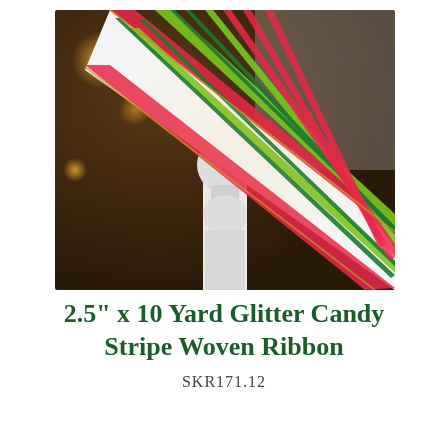[Figure (photo): Close-up photo of a glitter candy stripe woven ribbon with red and green diagonal stripes on white background, draped around a white decorative post finial, with bokeh lights and dark background.]
2.5" x 10 Yard Glitter Candy Stripe Woven Ribbon
SKR171.12